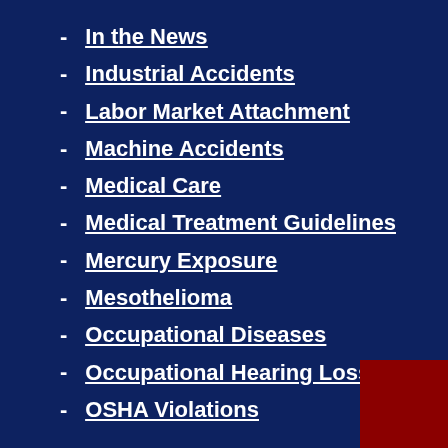In the News
Industrial Accidents
Labor Market Attachment
Machine Accidents
Medical Care
Medical Treatment Guidelines
Mercury Exposure
Mesothelioma
Occupational Diseases
Occupational Hearing Loss
OSHA Violations